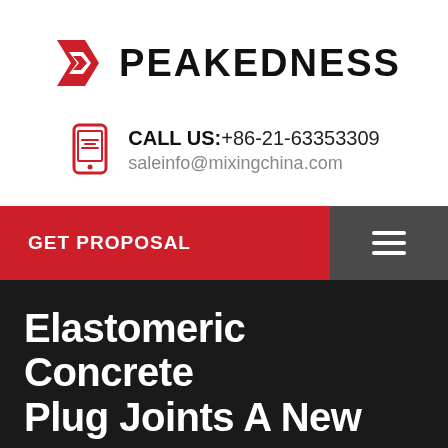[Figure (logo): Peakedness logo with red stylized P arrow icon and bold black PEAKEDNESS text]
CALL US:+86-21-63353309
saleinfo@mixingchina.com
GET PROPOSAL
Elastomeric Concrete Plug Joints A New